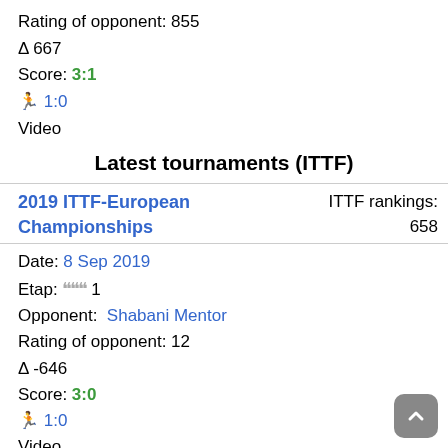Rating of opponent: 855
Δ 667
Score: 3:1
🏃 1:0
Video
Latest tournaments (ITTF)
2019 ITTF-European Championships
ITTF rankings: 658
Date: 8 Sep 2019
Etap: ❞❞❞ 1
Opponent: Shabani Mentor
Rating of opponent: 12
Δ -646
Score: 3:0
🏃 1:0
Video